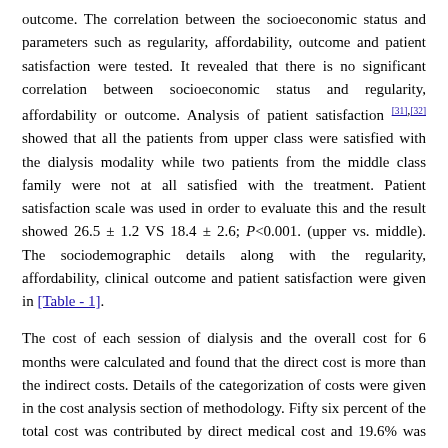outcome. The correlation between the socioeconomic status and parameters such as regularity, affordability, outcome and patient satisfaction were tested. It revealed that there is no significant correlation between socioeconomic status and regularity, affordability or outcome. Analysis of patient satisfaction [31],[32] showed that all the patients from upper class were satisfied with the dialysis modality while two patients from the middle class family were not at all satisfied with the treatment. Patient satisfaction scale was used in order to evaluate this and the result showed 26.5 ± 1.2 VS 18.4 ± 2.6; P<0.001. (upper vs. middle). The sociodemographic details along with the regularity, affordability, clinical outcome and patient satisfaction were given in [Table - 1].
The cost of each session of dialysis and the overall cost for 6 months were calculated and found that the direct cost is more than the indirect costs. Details of the categorization of costs were given in the cost analysis section of methodology. Fifty six percent of the total cost was contributed by direct medical cost and 19.6% was for the direct non-medical cost. Indirect cost was calculated based on the number of missed working hours and the percentage of current income compared to the income that the patients had before they entered the dialysis procedure. The details were shown in [Table - 2].